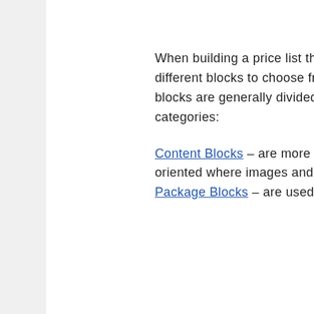When building a price list there are many different blocks to choose from. These blocks are generally divided into 2 categories:
Content Blocks – are more content-oriented where images and text are added.
Package Blocks – are used to build